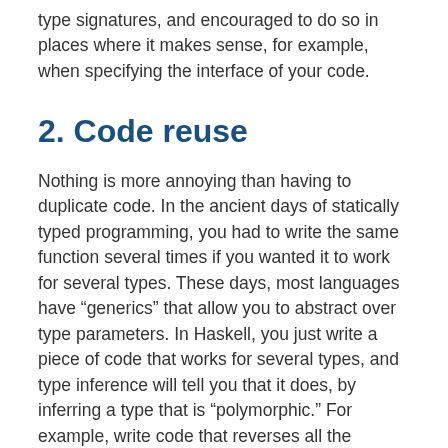type signatures, and encouraged to do so in places where it makes sense, for example, when specifying the interface of your code.
2. Code reuse
Nothing is more annoying than having to duplicate code. In the ancient days of statically typed programming, you had to write the same function several times if you wanted it to work for several types. These days, most languages have “generics” that allow you to abstract over type parameters. In Haskell, you just write a piece of code that works for several types, and type inference will tell you that it does, by inferring a type that is “polymorphic.” For example, write code that reverses all the elements of a data structure, and type inference will tell you that your code is independent of the type of elements of the data structure, so it’ll just work regardless of